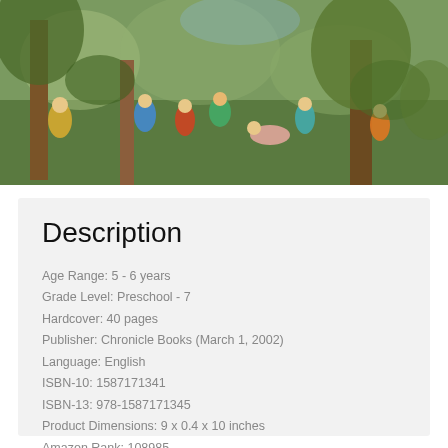[Figure (illustration): A colorful illustrated scene showing multiple figures outdoors among trees, with bright costumes and a lively composition reminiscent of a children's book illustration or painting.]
Description
Age Range: 5 - 6 years
Grade Level: Preschool - 7
Hardcover: 40 pages
Publisher: Chronicle Books (March 1, 2002)
Language: English
ISBN-10: 1587171341
ISBN-13: 978-1587171345
Product Dimensions: 9 x 0.4 x 10 inches
Amazon Rank: 108985
Format: PDF ePub TXT ebook